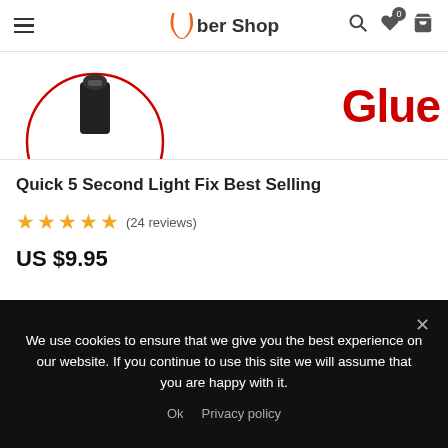Uber Shop
[Figure (photo): Product image strip: left side shows partial product image with a circular red-bordered graphic and a dark element resembling a USB or device; right side shows large bold red text 'Glue' on white background]
Quick 5 Second Light Fix Best Selling
★★★★★ (24 reviews)
US $9.95
[Figure (photo): Gray background partial product image area]
We use cookies to ensure that we give you the best experience on our website. If you continue to use this site we will assume that you are happy with it.
Ok   Privacy policy